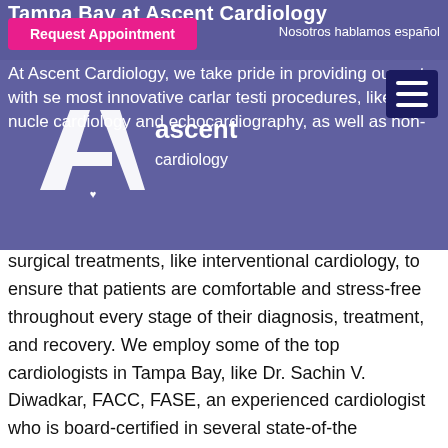Tampa Bay at Ascent Cardiology
Request Appointment
Nosotros hablamos español
[Figure (logo): Ascent Cardiology logo with white geometric 'A' shape and text 'ascent cardiology']
At Ascent Cardiology, we take pride in providing our patients with some of the most innovative cardiovascular testing procedures, like nuclear cardiology and echocardiography, as well as non-surgical treatments, like interventional cardiology, to ensure that patients are comfortable and stress-free throughout every stage of their diagnosis, treatment, and recovery. We employ some of the top cardiologists in Tampa Bay, like Dr. Sachin V. Diwadkar, FACC, FASE, an experienced cardiologist who is board-certified in several state-of-the cardiovascular testing and operating procedures.